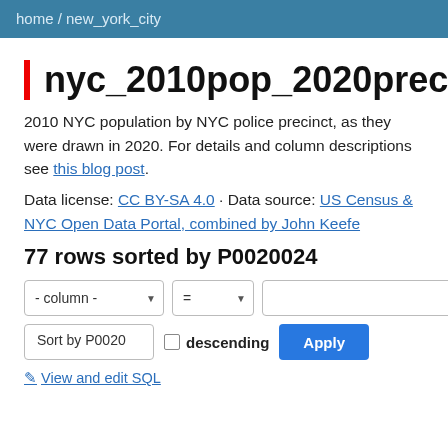home / new_york_city
nyc_2010pop_2020precincts
2010 NYC population by NYC police precinct, as they were drawn in 2020. For details and column descriptions see this blog post.
Data license: CC BY-SA 4.0 · Data source: US Census & NYC Open Data Portal, combined by John Keefe
77 rows sorted by P0020024
- column - = [input] Sort by P0020 [checkbox] descending Apply
✎ View and edit SQL